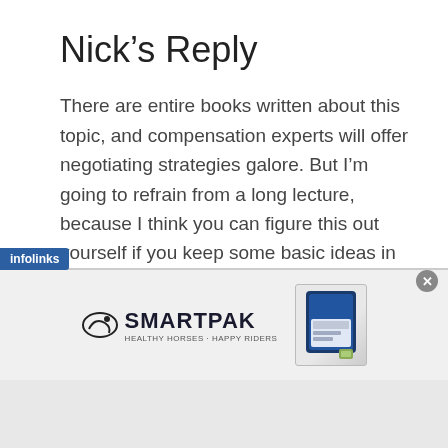Nick’s Reply
There are entire books written about this topic, and compensation experts will offer negotiating strategies galore. But I’m going to refrain from a long lecture, because I think you can figure this out yourself if you keep some basic ideas in mind.
No more boring performance reviews
What you should not do is walk into a
[Figure (screenshot): Infolinks advertisement banner with SmartPak logo and product image]